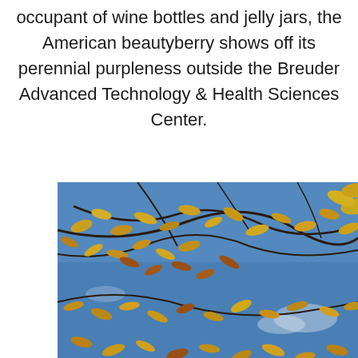occupant of wine bottles and jelly jars, the American beautyberry shows off its perennial purpleness outside the Breuder Advanced Technology & Health Sciences Center.
[Figure (photo): Photograph taken looking up through tree branches with golden-yellow and russet autumn leaves against a bright blue sky with a few white clouds.]